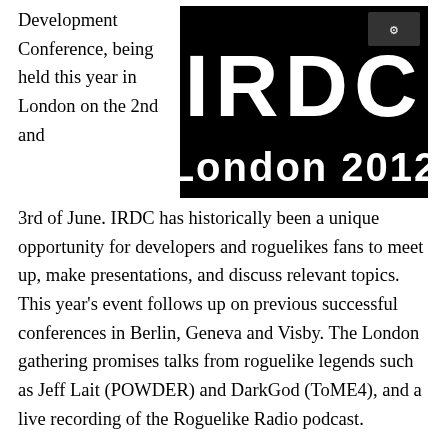Development Conference, being held this year in London on the 2nd and
[Figure (logo): IRDC London 2012 logo — white bold text on black background reading 'IRDC' and 'London 2012']
3rd of June. IRDC has historically been a unique opportunity for developers and roguelikes fans to meet up, make presentations, and discuss relevant topics. This year's event follows up on previous successful conferences in Berlin, Geneva and Visby. The London gathering promises talks from roguelike legends such as Jeff Lait (POWDER) and DarkGod (ToME4), and a live recording of the Roguelike Radio podcast.
Those interested in attending should sign up now, and